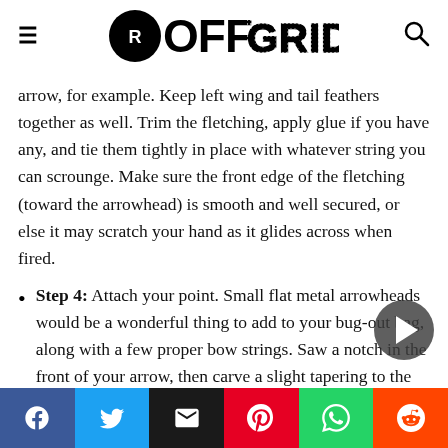RECOIL OFFGRID
arrow, for example. Keep left wing and tail feathers together as well. Trim the fletching, apply glue if you have any, and tie them tightly in place with whatever string you can scrounge. Make sure the front edge of the fletching (toward the arrowhead) is smooth and well secured, or else it may scratch your hand as it glides across when fired.
Step 4: Attach your point. Small flat metal arrowheads would be a wonderful thing to add to your bug-out bag, along with a few proper bow strings. Saw a notch in the front of your arrow, then carve a slight tapering to the end of the shaft for better penetration. Glue the arrowhead in place, and